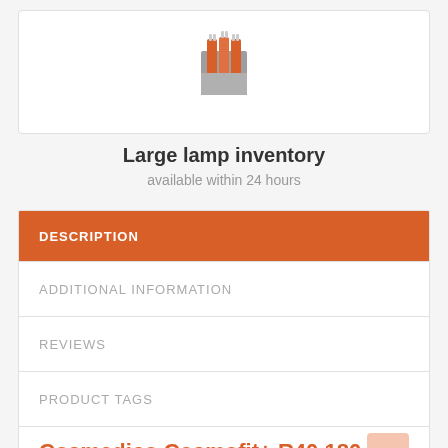[Figure (illustration): Icon of lamps/tanning bulbs, orange and grey colored, shown inside a rectangular package shape]
Large lamp inventory
available within 24 hours
DESCRIPTION
ADDITIONAL INFORMATION
REVIEWS
PRODUCT TAGS
Cosmedico Cosmofit+ R40 180-